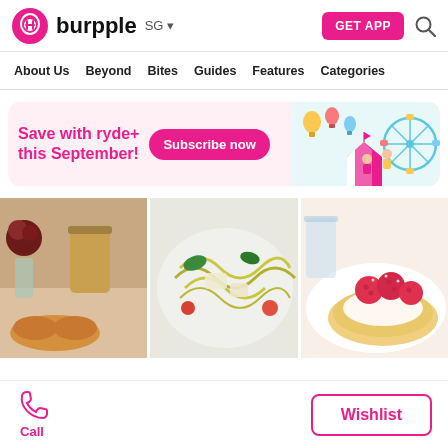burpple SG
About Us  Beyond  Bites  Guides  Features  Categories
[Figure (infographic): Promotional banner: Save with ryde+ this September! Subscribe now button, with carnival-themed illustration (ferris wheel, hot air balloons, characters)]
[Figure (photo): Three food photos side by side: croissant with coffee drink and flowers, green pesto pasta dish, raspberry tart/donut dessert]
Call
Wishlist